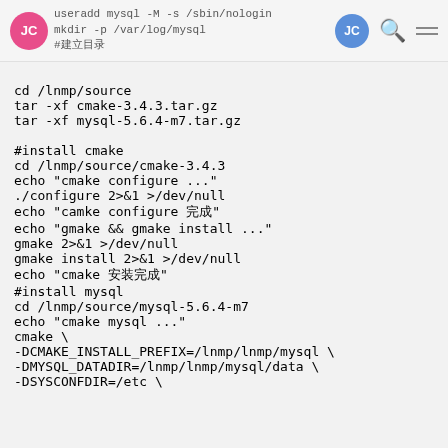useradd mysql -M -s /sbin/nologin
mkdir -p /var/log/mysql
#建立目录
cd /lnmp/source
tar -xf cmake-3.4.3.tar.gz
tar -xf mysql-5.6.4-m7.tar.gz

#install cmake
cd /lnmp/source/cmake-3.4.3
echo "cmake configure ..."
./configure 2>&1 >/dev/null
echo "camke configure 完成"
echo "gmake && gmake install ..."
gmake 2>&1 >/dev/null
gmake install 2>&1 >/dev/null
echo "cmake 安装完成"
#install mysql
cd /lnmp/source/mysql-5.6.4-m7
echo "cmake mysql ..."
cmake \
-DCMAKE_INSTALL_PREFIX=/lnmp/lnmp/mysql \
-DMYSQL_DATADIR=/lnmp/lnmp/mysql/data \
-DSYSCONFDIR=/etc \